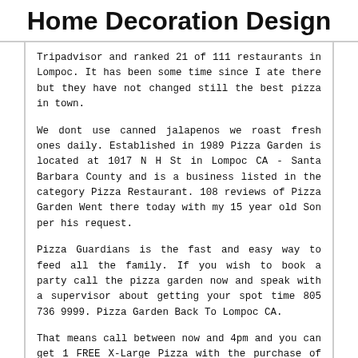Home Decoration Design
Tripadvisor and ranked 21 of 111 restaurants in Lompoc. It has been some time since I ate there but they have not changed still the best pizza in town.
We dont use canned jalapenos we roast fresh ones daily. Established in 1989 Pizza Garden is located at 1017 N H St in Lompoc CA - Santa Barbara County and is a business listed in the category Pizza Restaurant. 108 reviews of Pizza Garden Went there today with my 15 year old Son per his request.
Pizza Guardians is the fast and easy way to feed all the family. If you wish to book a party call the pizza garden now and speak with a supervisor about getting your spot time 805 736 9999. Pizza Garden Back To Lompoc CA.
That means call between now and 4pm and you can get 1 FREE X-Large Pizza with the purchase of an X-Large Pizza. Pizza garden located at 1001 N North H...